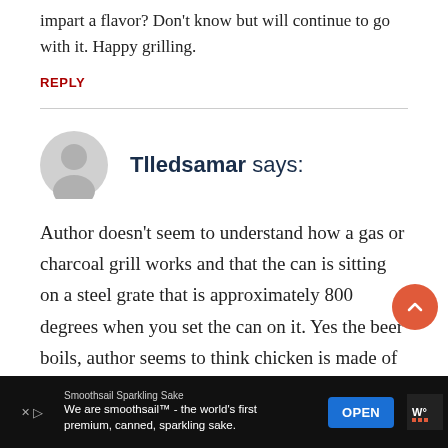impart a flavor? Don't know but will continue to go with it. Happy grilling.
REPLY
Tlledsamar says:
Author doesn't seem to understand how a gas or charcoal grill works and that the can is sitting on a steel grate that is approximately 800 degrees when you set the can on it. Yes the beer boils, author seems to think chicken is made of some super insulating compound, why on earth would the chicken...
[Figure (other): Advertisement banner: Smoothsail Sparkling Sake - We are smoothsail™ - the world's first premium, canned, sparkling sake. OPEN button.]